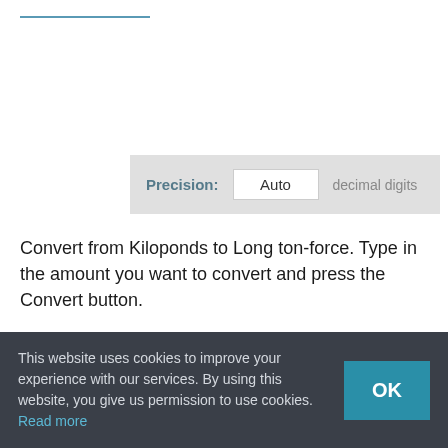[Figure (screenshot): Underlined link/navigation element at top left of page]
Precision: Auto decimal digits
Convert from Kiloponds to Long ton-force. Type in the amount you want to convert and press the Convert button.
Belongs in category
← Force
This website uses cookies to improve your experience with our services. By using this website, you give us permission to use cookies. Read more